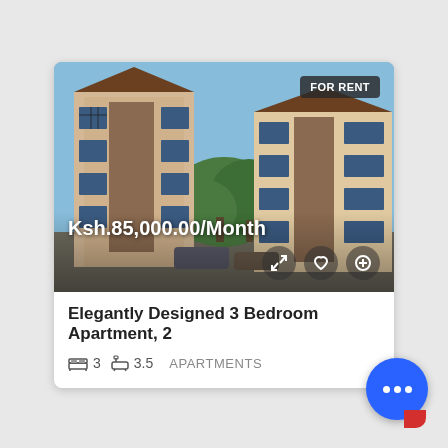[Figure (photo): Exterior photo of a multi-story apartment building complex with beige/cream walls, decorative tile cladding, barred windows, and green trees in a courtyard on a sunny day with blue sky.]
FOR RENT
Ksh.85,000.00/Month
Elegantly Designed 3 Bedroom Apartment, 2
3   3.5   APARTMENTS